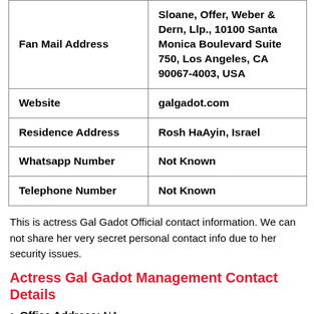|  |  |
| --- | --- |
| Fan Mail Address | Sloane, Offer, Weber & Dern, Llp., 10100 Santa Monica Boulevard Suite 750, Los Angeles, CA 90067-4003, USA |
| Website | galgadot.com |
| Residence Address | Rosh HaAyin, Israel |
| Whatsapp Number | Not Known |
| Telephone Number | Not Known |
This is actress Gal Gadot Official contact information. We can not share her very secret personal contact info due to her security issues.
Actress Gal Gadot Management Contact Details
Office Address: NA